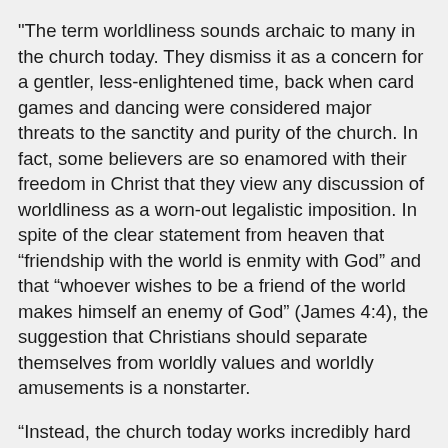"The term worldliness sounds archaic to many in the church today. They dismiss it as a concern for a gentler, less-enlightened time, back when card games and dancing were considered major threats to the sanctity and purity of the church. In fact, some believers are so enamored with their freedom in Christ that they view any discussion of worldliness as a worn-out legalistic imposition. In spite of the clear statement from heaven that “friendship with the world is enmity with God” and that “whoever wishes to be a friend of the world makes himself an enemy of God” (James 4:4), the suggestion that Christians should separate themselves from worldly values and worldly amusements is a nonstarter.
“Instead, the church today works incredibly hard to appear as much like the culture as possible. For decades, it has been popular for church leaders to make their services look, sound, and feel exactly like secular gatherings and events. Many churches today are indistinguishable from the concert venues and theaters of the world. They fastidiously imitate the latest styles in fashion and pop-culture trends, desperate to seem relevant and cool.